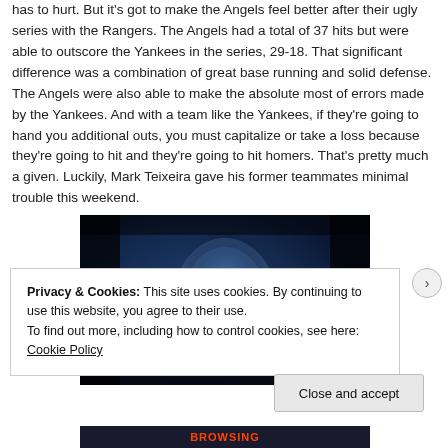has to hurt. But it's got to make the Angels feel better after their ugly series with the Rangers. The Angels had a total of 37 hits but were able to outscore the Yankees in the series, 29-18. That significant difference was a combination of great base running and solid defense. The Angels were also able to make the absolute most of errors made by the Yankees. And with a team like the Yankees, if they're going to hand you additional outs, you must capitalize or take a loss because they're going to hit and they're going to hit homers. That's pretty much a given. Luckily, Mark Teixeira gave his former teammates minimal trouble this weekend.
[Figure (photo): Dark blue-toned photo of a person's face appearing frozen or embedded in stone/carbonite, reminiscent of Han Solo in carbonite from Star Wars, with dramatic blue lighting.]
Privacy & Cookies: This site uses cookies. By continuing to use this website, you agree to their use. To find out more, including how to control cookies, see here: Cookie Policy
Close and accept